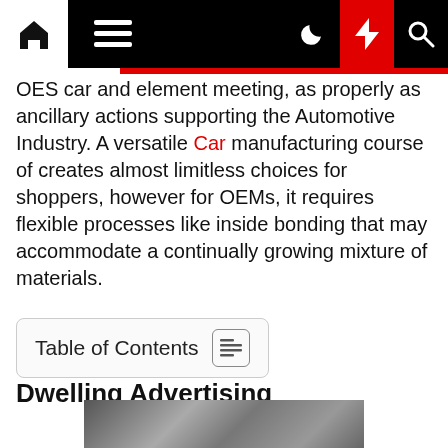Navigation bar with home, menu, dark mode, flash/active, and search icons
OES car and element meeting, as properly as ancillary actions supporting the Automotive Industry. A versatile Car manufacturing course of creates almost limitless choices for shoppers, however for OEMs, it requires flexible processes like inside bonding that may accommodate a continually growing mixture of materials.
Table of Contents
Dwelling Advertising
SustainabilityArm creates positive change at scale through folks, innovation, funding, and management. End-to-end security offerings and our ongoing commitment to preserving our clients secure.
[Figure (photo): Partial image visible at bottom of page, appears to be a vehicle or automotive-related photo in grayscale]